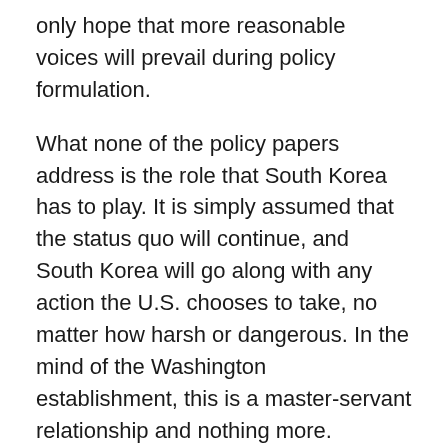only hope that more reasonable voices will prevail during policy formulation.
What none of the policy papers address is the role that South Korea has to play. It is simply assumed that the status quo will continue, and South Korea will go along with any action the U.S. chooses to take, no matter how harsh or dangerous. In the mind of the Washington establishment, this is a master-servant relationship and nothing more.
That Koreans, north and south, may have their own goals and interests is not considered. The truly astonishing mass protests against South Korean President Park Geun-hye, which led to her impeachment, have opened up a world of possibilities. Whatever happens in the months ahead, it won't be business as usual. U.S. policymakers are in a